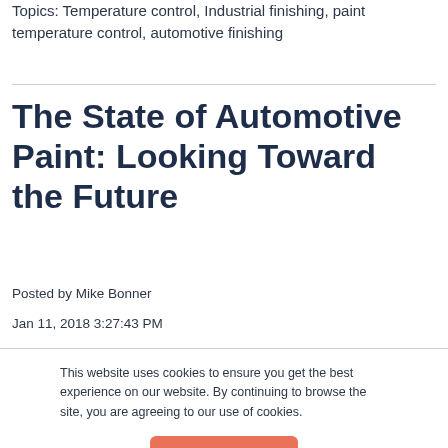Topics: Temperature control, Industrial finishing, paint temperature control, automotive finishing
The State of Automotive Paint: Looking Toward the Future
Posted by Mike Bonner
Jan 11, 2018 3:27:43 PM
This website uses cookies to ensure you get the best experience on our website. By continuing to browse the site, you are agreeing to our use of cookies.